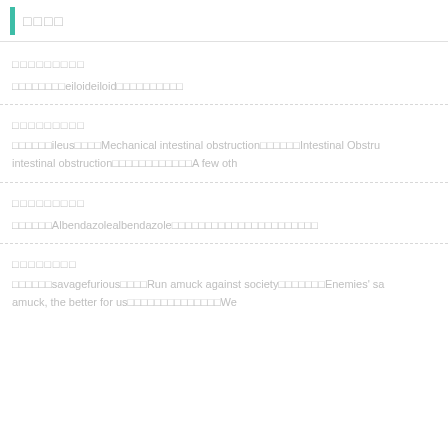□□□□
□□□□□□□□□
□□□□□□□□eiloideiloid□□□□□□□□□□
□□□□□□□□□
□□□□□□ileus□□□□Mechanical intestinal obstruction□□□□□□Intestinal Obstruction intestinal obstruction□□□□□□□□□□□□A few oth
□□□□□□□□□
□□□□□□Albendazolealbendazole□□□□□□□□□□□□□□□□□□□□□□
□□□□□□□□
□□□□□□savagefurious□□□□Run amuck against society□□□□□□□Enemies' sa amuck, the better for us□□□□□□□□□□□□□□We